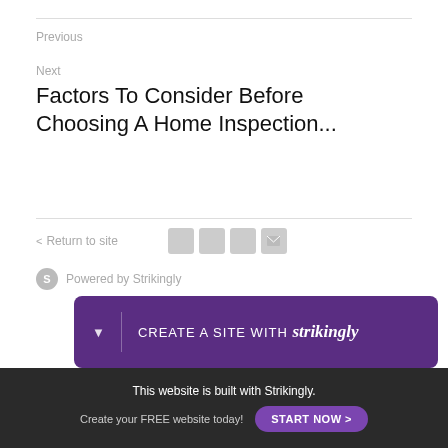Previous
Next
Factors To Consider Before Choosing A Home Inspection...
< Return to site
[Figure (infographic): Social sharing icons: Facebook, Twitter, LinkedIn, Email (gray squares)]
Powered by Strikingly
[Figure (infographic): Purple banner: CREATE A SITE WITH strikingly]
This website is built with Strikingly. Create your FREE website today! START NOW >